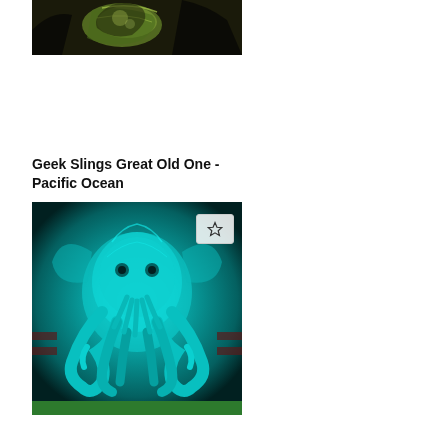[Figure (photo): Close-up photo of a printed t-shirt with a dark background showing a green and black illustrated graphic design, partially cropped at top of page]
Geek Slings Great Old One - Pacific Ocean
[Figure (photo): Photo of a teal/cyan colored fabric or item featuring an illustrated octopus or Cthulhu-like creature design, with a star/favorite button overlay in the top right corner, and a green strip at the bottom]